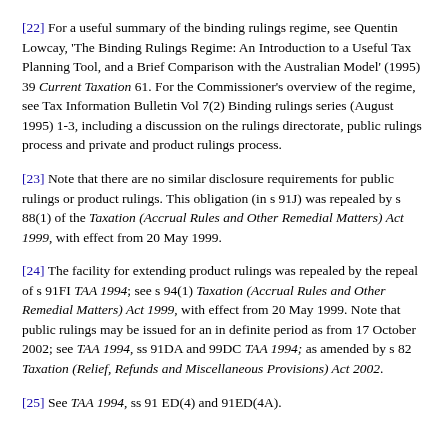[22] For a useful summary of the binding rulings regime, see Quentin Lowcay, 'The Binding Rulings Regime: An Introduction to a Useful Tax Planning Tool, and a Brief Comparison with the Australian Model' (1995) 39 Current Taxation 61. For the Commissioner's overview of the regime, see Tax Information Bulletin Vol 7(2) Binding rulings series (August 1995) 1-3, including a discussion on the rulings directorate, public rulings process and private and product rulings process.
[23] Note that there are no similar disclosure requirements for public rulings or product rulings. This obligation (in s 91J) was repealed by s 88(1) of the Taxation (Accrual Rules and Other Remedial Matters) Act 1999, with effect from 20 May 1999.
[24] The facility for extending product rulings was repealed by the repeal of s 91FI TAA 1994; see s 94(1) Taxation (Accrual Rules and Other Remedial Matters) Act 1999, with effect from 20 May 1999. Note that public rulings may be issued for an in definite period as from 17 October 2002; see TAA 1994, ss 91DA and 99DC TAA 1994; as amended by s 82 Taxation (Relief, Refunds and Miscellaneous Provisions) Act 2002.
[25] See TAA 1994, ss 91 ED(4) and 91ED(4A).